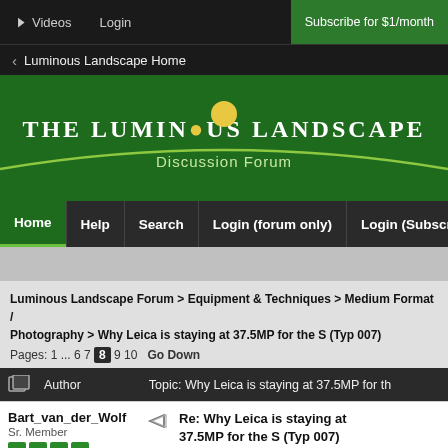Videos  Login  Subscribe for $1/month
< Luminous Landscape Home
[Figure (logo): THE LUMINOUS LANDSCAPE - Discussion Forum logo with green background, yellow circle, and arc]
Home  Help  Search  Login (forum only)  Login (Subscriber)  Register
Luminous Landscape Forum > Equipment & Techniques > Medium Format / Photography > Why Leica is staying at 37.5MP for the S (Typ 007)
Pages: 1 ... 6 7 [8] 9 10   Go Down
Author   Topic: Why Leica is staying at 37.5MP for th
Bart_van_der_Wolf
Sr. Member
Offline

Re: Why Leica is staying at 37.5MP for the S (Typ 007)
« Reply #140 on: November 21, 2014 09:25:42 am »